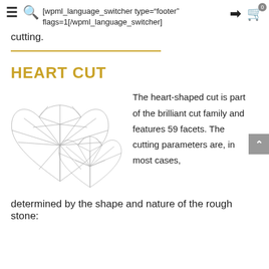[wpml_language_switcher type="footer" flags=1[/wpml_language_switcher]
cutting.
HEART CUT
[Figure (illustration): Two overlapping heart-shaped diamond cut diagrams drawn with geometric facet lines in a sketch style]
The heart-shaped cut is part of the brilliant cut family and features 59 facets. The cutting parameters are, in most cases,
determined by the shape and nature of the rough stone: